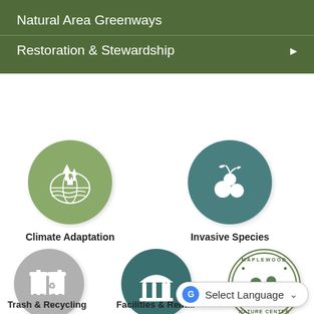Natural Area Greenways
Restoration & Stewardship
[Figure (illustration): Circular sage-green icon with globe, trees, buildings, and water waves representing Climate Adaptation]
Climate Adaptation
[Figure (illustration): Circular teal icon with berries/fruit branch representing Invasive Species]
Invasive Species
[Figure (illustration): Circular gray icon with trash/recycling bins representing Trash & Recycling]
Trash & Recycling
[Figure (illustration): Circular dark teal icon with pavilion/shelter structure representing Facilities & Rentals]
Facilities & Rent...
[Figure (logo): Circular Maplewood Nature Center badge logo with landscape scene]
Select Language